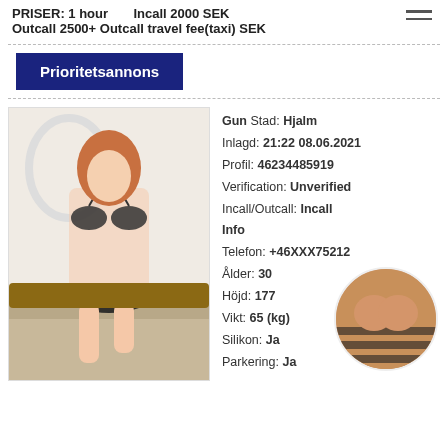PRISER: 1 hour   Incall 2000 SEK
Outcall 2500+ Outcall travel fee(taxi) SEK
Prioritetsannons
Gun Stad: Hjalm
Inlagd: 21:22 08.06.2021
Profil: 46234485919
Verification: Unverified
Incall/Outcall: Incall
Info
Telefon: +46XXX75212
Ålder: 30
Höjd: 177
Vikt: 65 (kg)
Silikon: Ja
Parkering: Ja
[Figure (photo): Photo of a young woman in black lingerie posing on a couch]
[Figure (photo): Circular thumbnail overlay showing a torso in striped clothing]